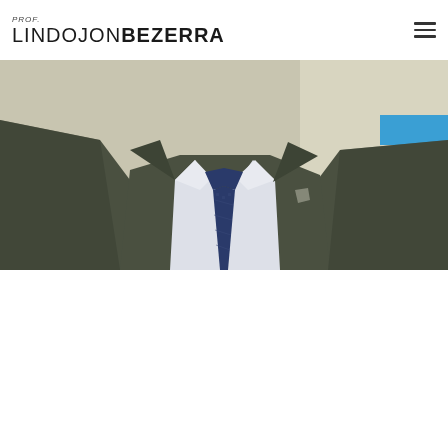PROF. LINDOJON BEZERRA
[Figure (photo): Close-up photo of a man in a grey suit jacket, white dress shirt, and navy blue tie, photographed from chest up. Background shows a light-coloured wall with a blue horizontal stripe on the right side.]